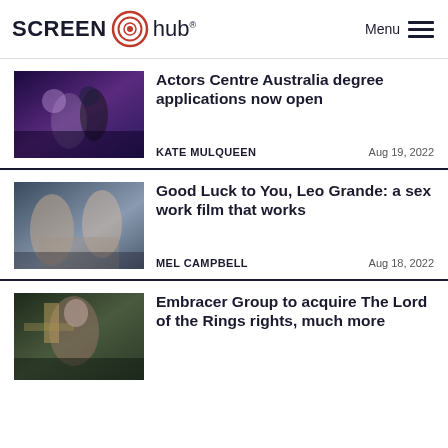SCREEN hub Menu
Actors Centre Australia degree applications now open
KATE MULQUEEN   Aug 19, 2022
Good Luck to You, Leo Grande: a sex work film that works
MEL CAMPBELL   Aug 18, 2022
Embracer Group to acquire The Lord of the Rings rights, much more